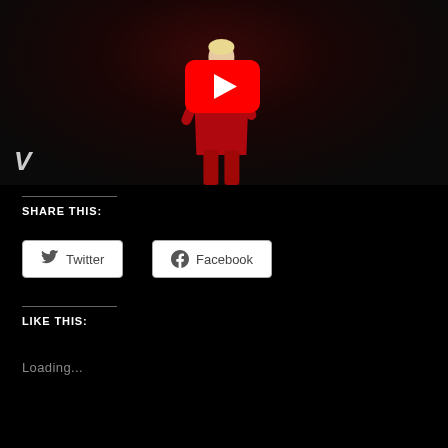[Figure (screenshot): YouTube video thumbnail showing a woman in a red suit on a dark stage, with a large YouTube play button overlay in the center. A stylized 'V' letter appears in the bottom-left corner of the video.]
SHARE THIS:
[Figure (other): Twitter share button with bird icon]
[Figure (other): Facebook share button with Facebook icon]
LIKE THIS:
Loading...